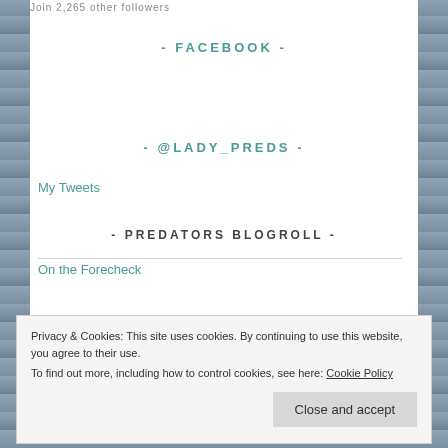Join 2,265 other followers
- FACEBOOK -
- @LADY_PREDS -
My Tweets
- PREDATORS BLOGROLL -
On the Forecheck
Privacy & Cookies: This site uses cookies. By continuing to use this website, you agree to their use.
To find out more, including how to control cookies, see here: Cookie Policy
Close and accept